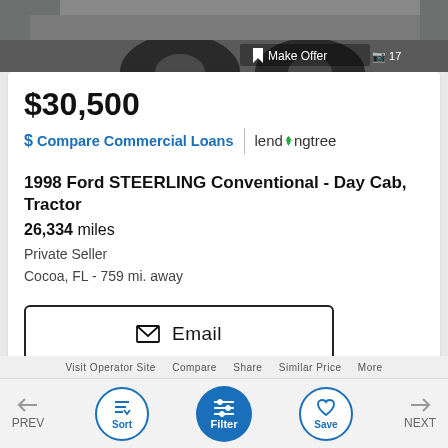[Figure (photo): Partial view of a truck/tractor vehicle with dark tires visible against a gray pavement background. Top portion of a vehicle listing image.]
$30,500
$ Compare Commercial Loans | lendingtree
1998 Ford STEERLING Conventional - Day Cab, Tractor
26,334 miles
Private Seller
Cocoa, FL - 759 mi. away
Email
PREV  Sort  Filter  Save  NEXT